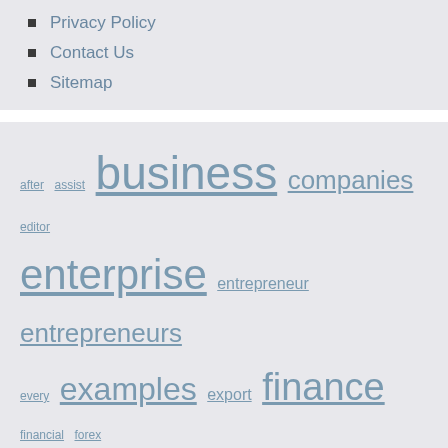Privacy Policy
Contact Us
Sitemap
[Figure (infographic): Tag cloud with finance and business related terms in varying sizes. Terms include: after, assist, business, companies, editor, enterprise, entrepreneur, entrepreneurs, every, examples, export, finance, financial, forex, forgiveness, genius, ideas, information, management, media, might, mixing, nasdaq, online, oversight, personal, plans, presentation, prime, professional, providers, residence, senate, service, services, shavers, small, social, suggestions]